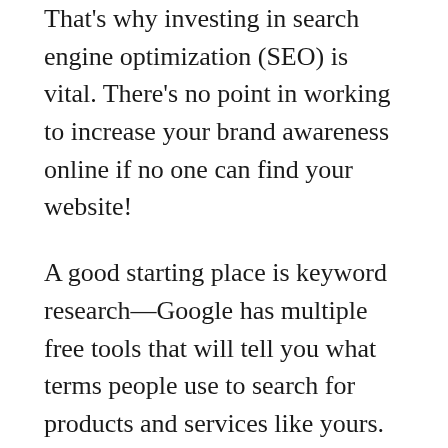That's why investing in search engine optimization (SEO) is vital. There's no point in working to increase your brand awareness online if no one can find your website!
A good starting place is keyword research—Google has multiple free tools that will tell you what terms people use to search for products and services like yours. Once you've found some terms that you would like to rank for in search results, begin adding them into strategic parts of your website like headers, menu and navigation bars, and body content.
5. Start Blogging